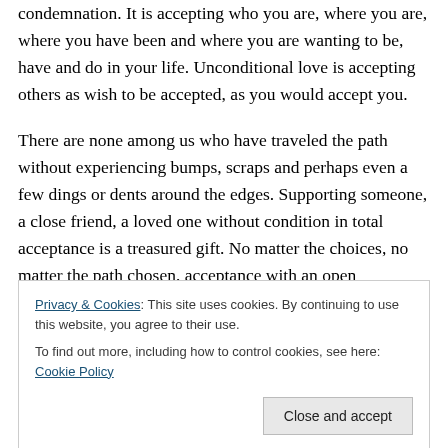condemnation. It is accepting who you are, where you are, where you have been and where you are wanting to be, have and do in your life. Unconditional love is accepting others as wish to be accepted, as you would accept you.

There are none among us who have traveled the path without experiencing bumps, scraps and perhaps even a few dings or dents around the edges. Supporting someone, a close friend, a loved one without condition in total acceptance is a treasured gift. No matter the choices, no matter the path chosen, acceptance with an open
Privacy & Cookies: This site uses cookies. By continuing to use this website, you agree to their use.
To find out more, including how to control cookies, see here: Cookie Policy
About Angel Lady Terrie Marie, D.Ms